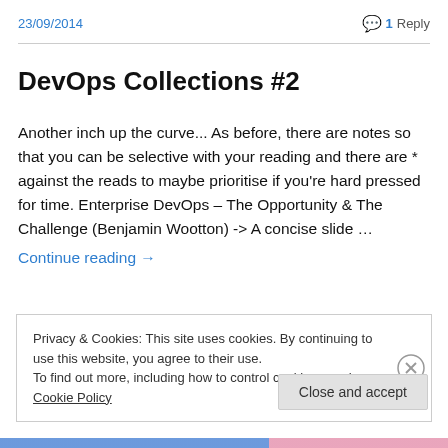23/09/2014
1 Reply
DevOps Collections #2
Another inch up the curve... As before, there are notes so that you can be selective with your reading and there are * against the reads to maybe prioritise if you're hard pressed for time. Enterprise DevOps – The Opportunity & The Challenge (Benjamin Wootton) -> A concise slide …
Continue reading →
Privacy & Cookies: This site uses cookies. By continuing to use this website, you agree to their use.
To find out more, including how to control cookies, see here: Cookie Policy